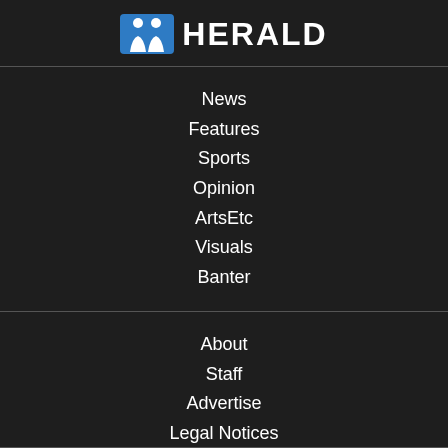[Figure (logo): Herald newspaper logo with two figures icon and 'HERALD' text in bold white on dark background]
News
Features
Sports
Opinion
ArtsEtc
Visuals
Banter
About
Staff
Advertise
Legal Notices
Newsletter
Donate